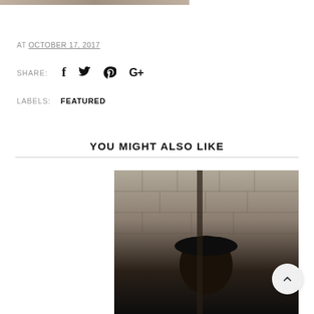[Figure (photo): Partial top edge of a photo (cropped), showing warm-toned image]
AT OCTOBER 17, 2017
SHARE:  [Facebook] [Twitter] [Pinterest] [Google+]
LABELS:  FEATURED
YOU MIGHT ALSO LIKE
[Figure (photo): Person wearing a black hat standing in front of a stone brick wall background]